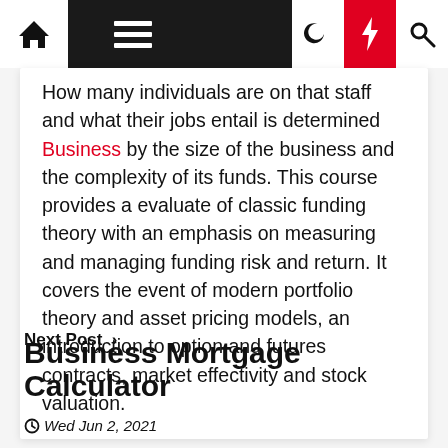Navigation bar with home, menu, moon, lightning, and search icons
How many individuals are on that staff and what their jobs entail is determined Business by the size of the business and the complexity of its funds. This course provides a evaluate of classic funding theory with an emphasis on measuring and managing funding risk and return. It covers the event of modern portfolio theory and asset pricing models, an introduction to option and futures contracts, market effectivity and stock valuation.
Next Post ›
Business Mortgage Calculator
⊙Wed Jun 2, 2021